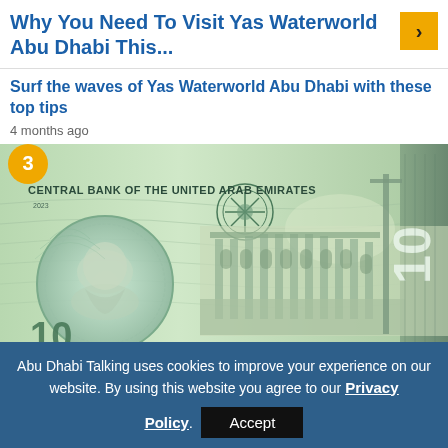Why You Need To Visit Yas Waterworld Abu Dhabi This...
Surf the waves of Yas Waterworld Abu Dhabi with these top tips
4 months ago
[Figure (photo): UAE 10 dirham banknote showing Central Bank of the United Arab Emirates, with a portrait on the left in a circular hologram, ornate building facade in the center, and '10' numeral on the right. Number '3' badge overlaid top-left.]
Abu Dhabi Talking uses cookies to improve your experience on our website. By using this website you agree to our Privacy Policy.